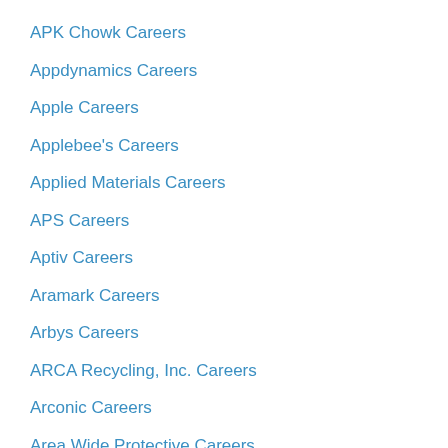APK Chowk Careers
Appdynamics Careers
Apple Careers
Applebee's Careers
Applied Materials Careers
APS Careers
Aptiv Careers
Aramark Careers
Arbys Careers
ARCA Recycling, Inc. Careers
Arconic Careers
Area Wide Protective Careers
Arizona Central Credit Union Careers